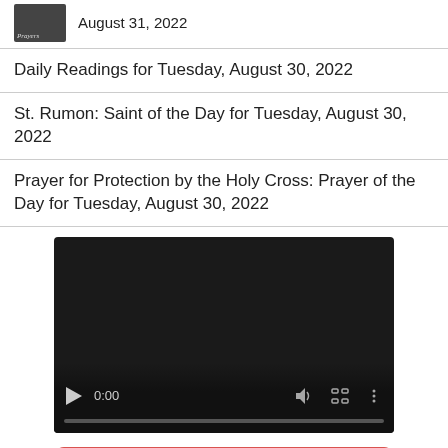August 31, 2022
Daily Readings for Tuesday, August 30, 2022
St. Rumon: Saint of the Day for Tuesday, August 30, 2022
Prayer for Protection by the Holy Cross: Prayer of the Day for Tuesday, August 30, 2022
[Figure (screenshot): Embedded video player showing 0:00 timestamp with play button, volume, fullscreen, and more options controls on a dark background]
Click to Save 25% Now